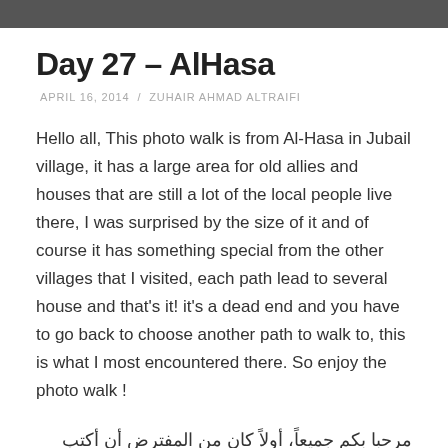Day 27 – AlHasa
APRIL 16, 2014  /  ZUHAIR AHMAD ALTRAIFI
Hello all, This photo walk is from Al-Hasa in Jubail village, it has a large area for old allies and houses that are still a lot of the local people live there, I was surprised by the size of it and of course it has something special from the other villages that I visited, each path lead to several house and that's it! it's a dead end and you have to go back to choose another path to walk to, this is what I most encountered there. So enjoy the photo walk !
مرحبا بكم جميعاً، أولاً كان من المفترض أن أكتب لكم هذه المدونة قبل عدة أيام ولكن لإنشغالي في السفر لم أتمكن